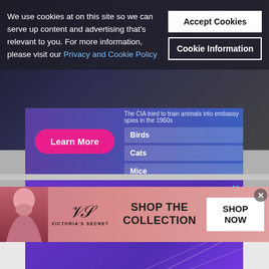We use cookies at on this site so we can serve up content and advertising that's relevant to you. For more information, please visit our Privacy and Cookie Policy
Accept Cookies
Cookie Information
[Figure (screenshot): Purple/blue quiz advertisement with 'Learn More' pink button and quiz items: Birds, Cats, Mice]
[Figure (screenshot): Purple advertisement banner reading 'Content made to engage, added to your site with ease' with close X button]
[Figure (screenshot): Victoria's Secret advertisement banner: SHOP THE COLLECTION with SHOP NOW button]